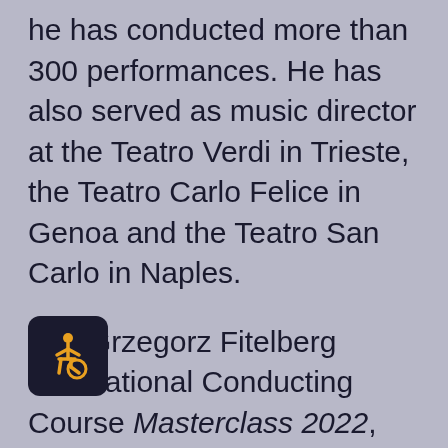he has conducted more than 300 performances. He has also served as music director at the Teatro Verdi in Trieste, the Teatro Carlo Felice in Genoa and the Teatro San Carlo in Naples.
The Grzegorz Fitelberg International Conducting Course Masterclass 2022, conducted fully in English, will be held on 10-15 October 2022 at the Silesian Philharmonic and will cover two forms of participation: active (12 places), and passive (places). The active form will consist of the following stages:
[Figure (illustration): Accessibility icon — wheelchair symbol in gold/yellow on dark navy rounded square background]